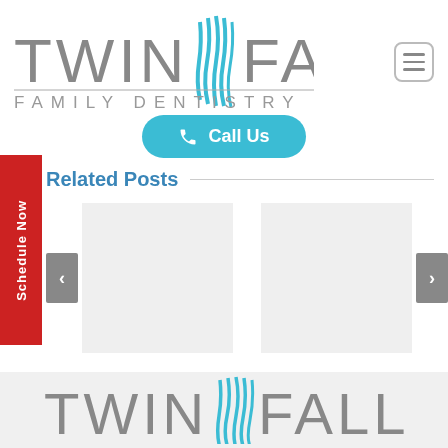[Figure (logo): Twin Falls Family Dentistry logo with waterfall graphic between TWIN and FALLS text, subtitle FAMILY DENTISTRY]
[Figure (other): Hamburger menu icon in rounded square border]
[Figure (other): Call Us button in cyan/teal with phone icon]
Related Posts
[Figure (other): Carousel with two gray placeholder image boxes and left/right navigation arrows]
[Figure (other): Schedule Now vertical red sidebar tab]
[Figure (logo): Twin Falls logo repeated at bottom on light gray background - partial crop showing TWIN FALLS text]